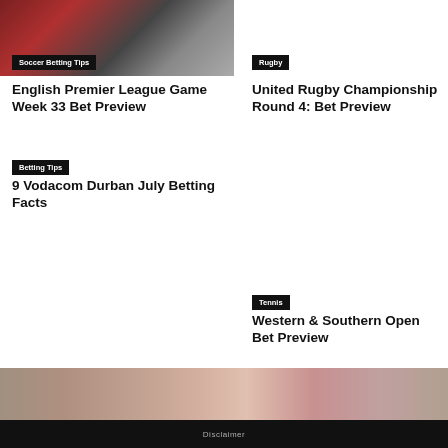[Figure (photo): Soccer teams jersey/badge image, Premier League related]
Soccer Betting Tips
English Premier League Game Week 33 Bet Preview
Rugby
United Rugby Championship Round 4: Bet Preview
Betting Tips
9 Vodacom Durban July Betting Facts
Tennis
Western & Southern Open Bet Preview
[Figure (photo): Bottom strip photo showing people]
Disclaimer